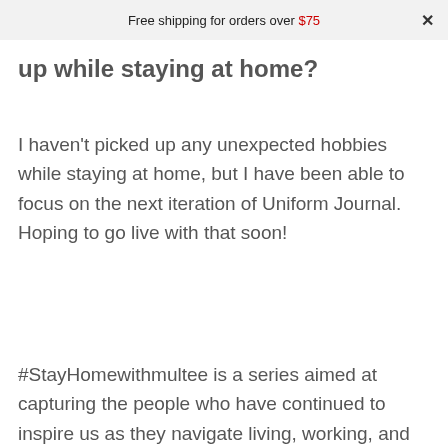Free shipping for orders over $75 ×
up while staying at home?
I haven't picked up any unexpected hobbies while staying at home, but I have been able to focus on the next iteration of Uniform Journal. Hoping to go live with that soon!
#StayHomewithmultee is a series aimed at capturing the people who have continued to inspire us as they navigate living, working, and creating from home. It highlights the